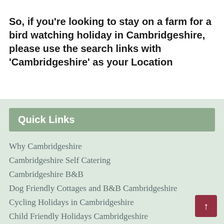So, if you're looking to stay on a farm for a bird watching holiday in Cambridgeshire, please use the search links with 'Cambridgeshire' as your Location
Quick Links
Why Cambridgeshire
Cambridgeshire Self Catering
Cambridgeshire B&B
Dog Friendly Cottages and B&B Cambridgeshire
Cycling Holidays in Cambridgeshire
Child Friendly Holidays Cambridgeshire
Short and Weekend Breaks Cambridgeshire
Group Accommodation Cambridgeshire